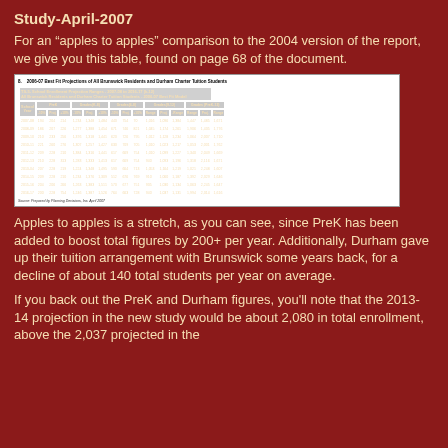Study-April-2007
For an “apples to apples” comparison to the 2004 version of the report, we give you this table, found on page 68 of the document.
[Figure (table-as-image): TS-5 School Enrollment Projection Ranges 2007-08 to 2016-17 table showing PreK, Grades K-8, Grades 6-8, Grades 9-12, and Grades PreK-12 projections for Brunswick and Durham Charter Tuition Students under 2006-07 Best Fit Model]
Apples to apples is a stretch, as you can see, since PreK has been added to boost total figures by 200+ per year. Additionally, Durham gave up their tuition arrangement with Brunswick some years back, for a decline of about 140 total students per year on average.
If you back out the PreK and Durham figures, you'll note that the 2013-14 projection in the new study would be about 2,080 in total enrollment, above the 2,037 projected in the